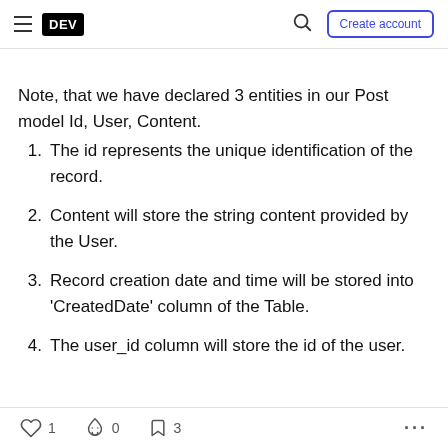DEV — Create account
Note, that we have declared 3 entities in our Post model Id, User, Content.
1. The id represents the unique identification of the record.
2. Content will store the string content provided by the User.
3. Record creation date and time will be stored into 'CreatedDate' column of the Table.
4. The user_id column will store the id of the user.
❤ 1   🔥 0   🔖 3   ...